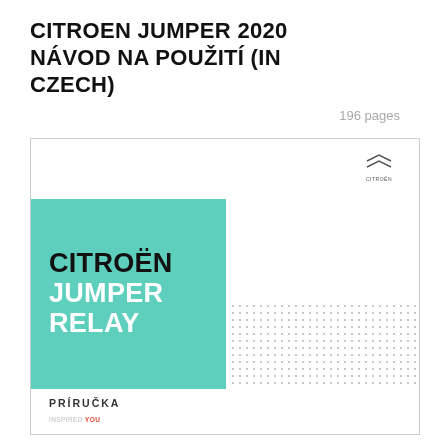CITROEN JUMPER 2020 NÁVOD NA POUŽITÍ (IN CZECH)
196 pages
[Figure (illustration): Cover page of Citroën Jumper/Relay 2020 user manual in Czech (Príručka). Shows teal banner with CITROËN JUMPER RELAY text, Citroën logo top right, dot pattern decoration, and PRÍRUČKA label.]